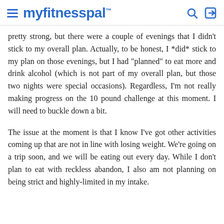myfitnesspal
pretty strong, but there were a couple of evenings that I didn't stick to my overall plan. Actually, to be honest, I *did* stick to my plan on those evenings, but I had "planned" to eat more and drink alcohol (which is not part of my overall plan, but those two nights were special occasions). Regardless, I'm not really making progress on the 10 pound challenge at this moment. I will need to buckle down a bit.
The issue at the moment is that I know I've got other activities coming up that are not in line with losing weight. We're going on a trip soon, and we will be eating out every day. While I don't plan to eat with reckless abandon, I also am not planning on being strict and highly-limited in my intake.